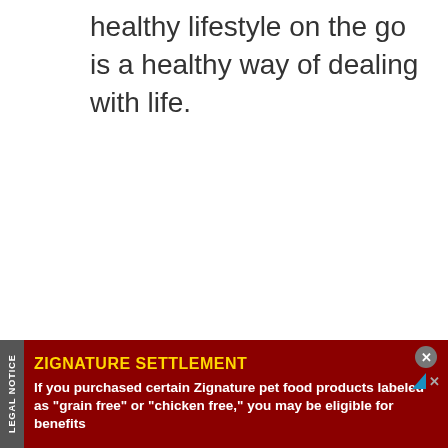healthy lifestyle on the go is a healthy way of dealing with life.
[Figure (other): Advertisement banner for Zignature Settlement. Dark red background with gold title 'ZIGNATURE SETTLEMENT' and white body text: 'If you purchased certain Zignature pet food products labeled as "grain free" or "chicken free," you may be eligible for benefits'. Has a 'LEGAL NOTICE' vertical tab on left side, close button and AdChoices icon on top right.]